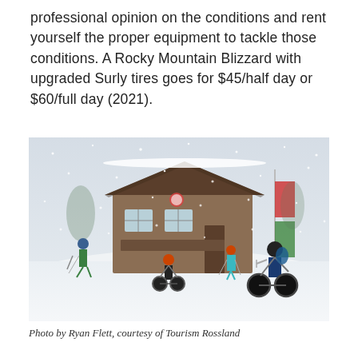professional opinion on the conditions and rent yourself the proper equipment to tackle those conditions. A Rocky Mountain Blizzard with upgraded Surly tires goes for $45/half day or $60/full day (2021).
[Figure (photo): Snowy outdoor scene with people riding fat tire bikes and skiing near a wooden lodge building during a blizzard or heavy snowfall.]
Photo by Ryan Flett, courtesy of Tourism Rossland
The...